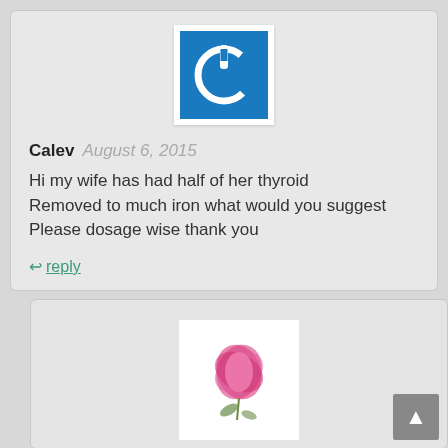[Figure (logo): Blue square power button icon on white background]
Calev  August 6, 2015
Hi my wife has had half of her thyroid Removed to much iron what would you suggest Please dosage wise thank you
reply
[Figure (photo): Pink flower illustration on white background]